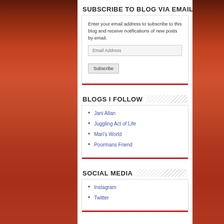SUBSCRIBE TO BLOG VIA EMAIL
Enter your email address to subscribe to this blog and receive notifications of new posts by email.
BLOGS I FOLLOW
Jani Allan
Juggling Act of Life
Mari's World
Poormans Friend
SOCIAL MEDIA
Instagram
Twitter